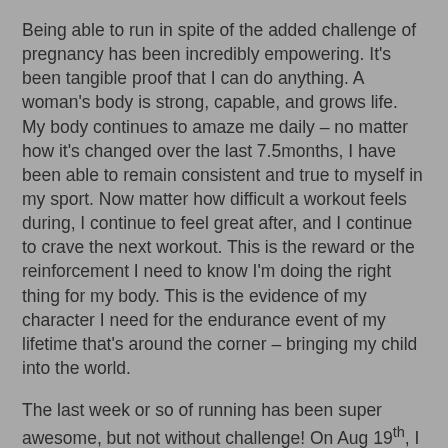Being able to run in spite of the added challenge of pregnancy has been incredibly empowering. It's been tangible proof that I can do anything. A woman's body is strong, capable, and grows life. My body continues to amaze me daily – no matter how it's changed over the last 7.5months, I have been able to remain consistent and true to myself in my sport. Now matter how difficult a workout feels during, I continue to feel great after, and I continue to crave the next workout. This is the reward or the reinforcement I need to know I'm doing the right thing for my body. This is the evidence of my character I need for the endurance event of my lifetime that's around the corner – bringing my child into the world.
The last week or so of running has been super awesome, but not without challenge! On Aug 19th, I participated in a free 5K event coinciding with Kits Fest at Kitsilano Beach. The run was organized by the Vancouver Marathon Society and just happened to land on my friend Monica's birthday. We ran together and had a blast. While part of me wasn't thrilled that it took me 39minutes to complete the distance